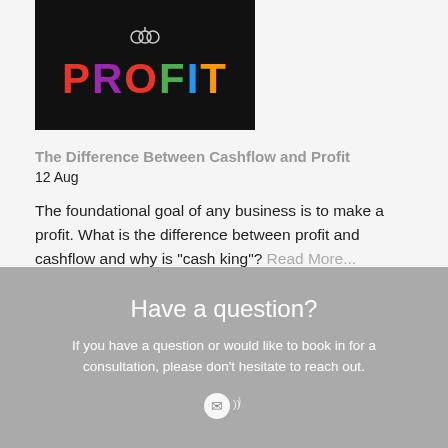[Figure (illustration): Black background image with the word PROFIT in large colorful letters and a small icon above it]
The Difference Between Cashflow and Profit
12 Aug
The foundational goal of any business is to make a profit. What is the difference between profit and cashflow and why is "cash king"? Read More...
Have a question?
If you have a question or would like to book in for a consultation, please don't hesitate to reach out.